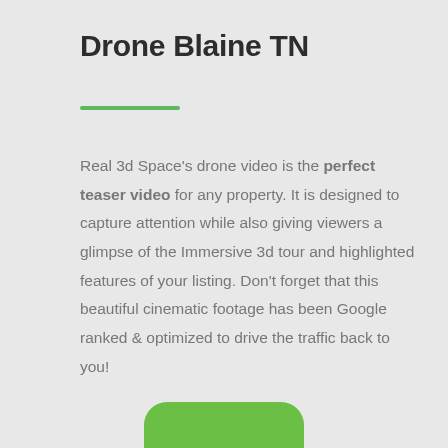Drone Blaine TN
Real 3d Space's drone video is the perfect teaser video for any property. It is designed to capture attention while also giving viewers a glimpse of the Immersive 3d tour and highlighted features of your listing. Don't forget that this beautiful cinematic footage has been Google ranked & optimized to drive the traffic back to you!